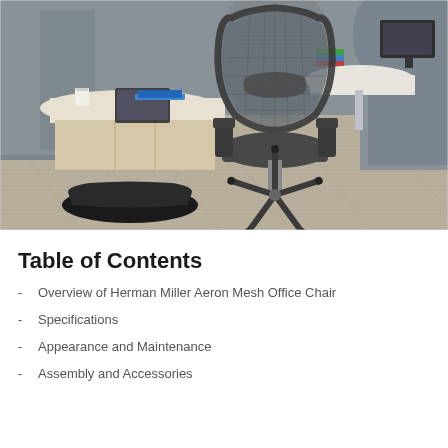[Figure (photo): Office environment photo showing a Herman Miller Aeron mesh office chair in a modern open-plan workspace with grey cubicle dividers, light wood desk units, a footrest in the foreground, and a laptop on the desk surface.]
Table of Contents
Overview of Herman Miller Aeron Mesh Office Chair
Specifications
Appearance and Maintenance
Assembly and Accessories